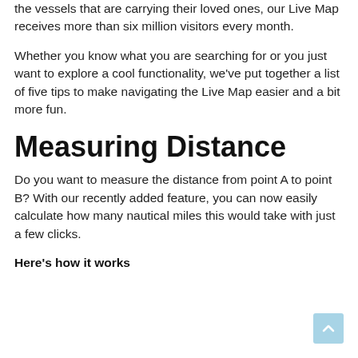the vessels that are carrying their loved ones, our Live Map receives more than six million visitors every month.
Whether you know what you are searching for or you just want to explore a cool functionality, we've put together a list of five tips to make navigating the Live Map easier and a bit more fun.
Measuring Distance
Do you want to measure the distance from point A to point B? With our recently added feature, you can now easily calculate how many nautical miles this would take with just a few clicks.
Here's how it works